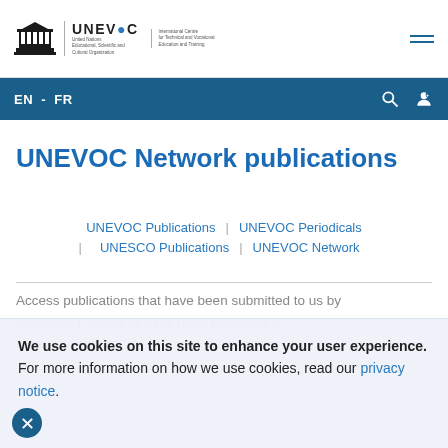UNESCO UNEVOC – International Centre for Technical and Vocational Education and Training
UNEVOC Network publications
UNEVOC Publications | UNEVOC Periodicals | UNESCO Publications | UNEVOC Network
Access publications that have been submitted to us by UNEVOC Centres or have been produced in collaboration with us, easily through navigation...
We use cookies on this site to enhance your user experience.
For more information on how we use cookies, read our privacy notice.